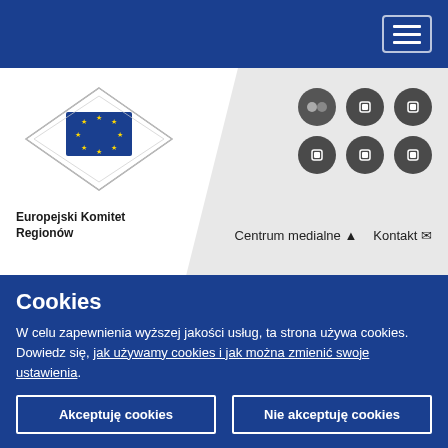[Figure (logo): European Committee of the Regions logo with EU flag emblem and diamond frame]
Europejski Komitet Regionów
[Figure (other): Social media icons: Flickr, and 5 other social platform icons (dark circles)]
Centrum medialne 🔔  Kontakt ✉
Jesteś tutaj > 🏠 > Wydarzenia > Commission: 9th ENVE Commission meeting (hybrid)
Cookies
W celu zapewnienia wyższej jakości usług, ta strona używa cookies. Dowiedz się, jak używamy cookies i jak można zmienić swoje ustawienia.
Akceptuję cookies
Nie akceptuję cookies